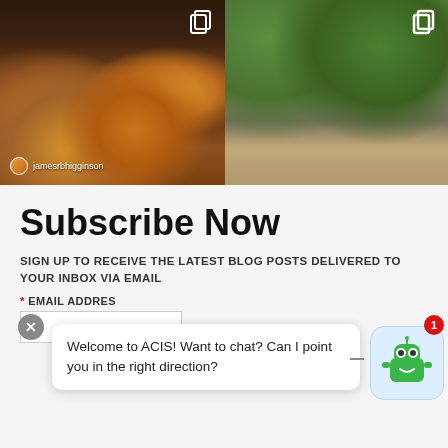[Figure (photo): Left photo: overhead view of a table with many bowls of food, people eating, username tag 'jamesrbhigginson' visible at bottom left]
[Figure (photo): Right photo: outdoor scene with people on a brick staircase next to a railing, green lawn visible in background]
Subscribe Now
SIGN UP TO RECEIVE THE LATEST BLOG POSTS DELIVERED TO YOUR INBOX VIA EMAIL
* EMAIL ADDRESS
Welcome to ACIS! Want to chat? Can I point you in the right direction?